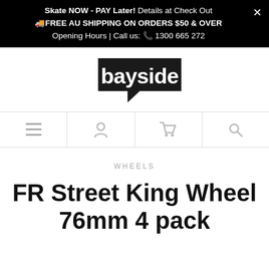Skate NOW - PAY Later! Details at Check Out
🚚FREE AU SHIPPING ON ORDERS $50 & OVER
Opening Hours | Call us: 📞 1300 665 272
[Figure (logo): Bayside skate shop logo — white text 'bayside' on black speech-bubble arrow shape]
[Figure (infographic): Navigation bar with four icons: hamburger menu, user profile, shopping cart, search]
WHEELS
FR Street King Wheel 76mm 4 pack